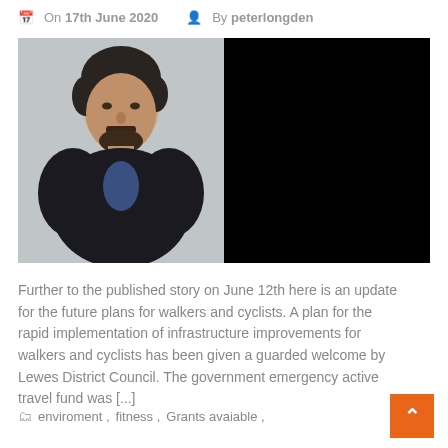On 17th June 2020   By peterlongden
[Figure (photo): Left half: portrait photo of a middle-aged man with dark hair and beard wearing a dark suit jacket and blue shirt. Right half: black rectangle (redacted or blank area).]
Further to the published story on June 12th here is an update for the future plans for walkers and cyclists. A plan for the rapid implementation of infrastructure improvements for walkers and cyclists has been given a guarded welcome by Lewes District Council. The government emergency active travel fund was [...]
enviroment,   fitness,   Grants avaiable,